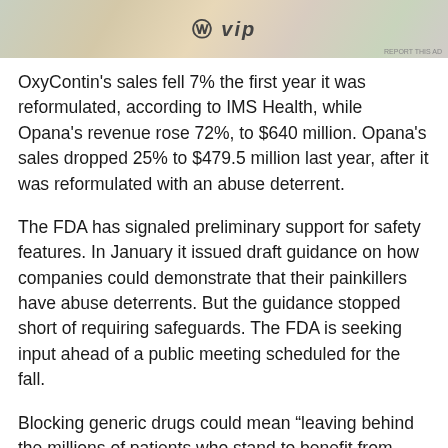[Figure (screenshot): Advertisement banner with WordPress VIP logo and colorful background]
OxyContin's sales fell 7% the first year it was reformulated, according to IMS Health, while Opana's revenue rose 72%, to $640 million. Opana's sales dropped 25% to $479.5 million last year, after it was reformulated with an abuse deterrent.
The FDA has signaled preliminary support for safety features. In January it issued draft guidance on how companies could demonstrate that their painkillers have abuse deterrents. But the guidance stopped short of requiring safeguards. The FDA is seeking input ahead of a public meeting scheduled for the fall.
Blocking generic drugs could mean “leaving behind the millions of patients who stand to benefit from access to